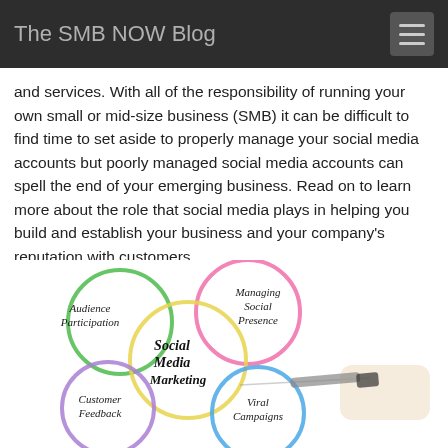The SMB NOW Blog
and services. With all of the responsibility of running your own small or mid-size business (SMB) it can be difficult to find time to set aside to properly manage your social media accounts but poorly managed social media accounts can spell the end of your emerging business. Read on to learn more about the role that social media plays in helping you build and establish your business and your company’s reputation with customers.
[Figure (infographic): Social Media Marketing infographic showing overlapping colored circles with a hand writing 'Social Media Marketing' in the center. Circles are labeled: Audience Participation (green), Managing Social Presence (pink), Customer Feedback (purple), Viral Campaigns (blue), with a yellow central circle.]